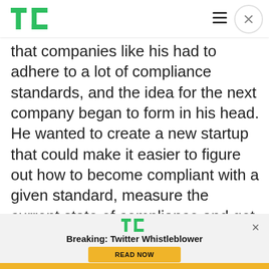TechCrunch
that companies like his had to adhere to a lot of compliance standards, and the idea for the next company began to form in his head. He wanted to create a new startup that could make it easier to figure out how to become compliant with a given standard, measure the current state of compliance and get recommendations on how to improve. He created Kintent to achieve that goal.
[Figure (logo): TechCrunch logo in green inside a notification bar with headline Breaking: Twitter Whistleblower and a READ NOW button]